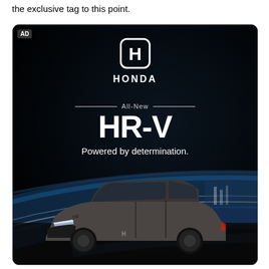the exclusive tag to this point.
[Figure (photo): Honda HR-V advertisement on a dark/black background. Shows the Honda logo (H emblem) at top center with 'HONDA' text below it, then 'All-New' flanked by horizontal lines, then large bold 'HR-V' text, then 'Powered by determination.' A gray Honda HR-V SUV is shown in the lower portion against a dramatic blue/dark background with light streaks. An 'AD' label appears in the top-left corner of the ad.]